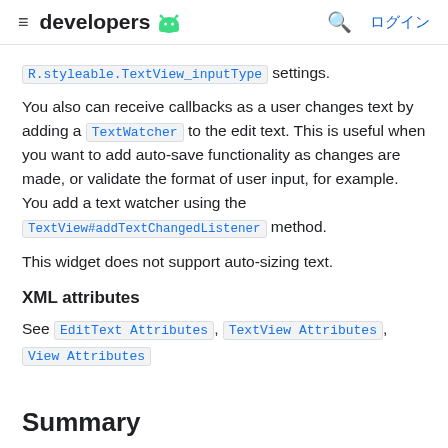≡ developers 🤖  🔍 ログイン
R.styleable.TextView_inputType settings.
You also can receive callbacks as a user changes text by adding a TextWatcher to the edit text. This is useful when you want to add auto-save functionality as changes are made, or validate the format of user input, for example. You add a text watcher using the TextView#addTextChangedListener method.
This widget does not support auto-sizing text.
XML attributes
See EditText Attributes , TextView Attributes , View Attributes
Summary